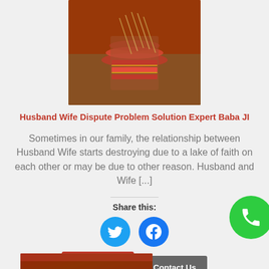[Figure (photo): Photo of decorated hands/bangles of a bride in red wedding attire]
Husband Wife Dispute Problem Solution Expert Baba JI
Sometimes in our family, the relationship between Husband Wife starts destroying due to a lake of faith on each other or may be due to other reason. Husband and Wife [...]
Share this:
[Figure (illustration): Twitter share icon button (blue circle with bird)]
[Figure (illustration): Facebook share icon button (blue circle with f logo)]
Read More
Contact Us